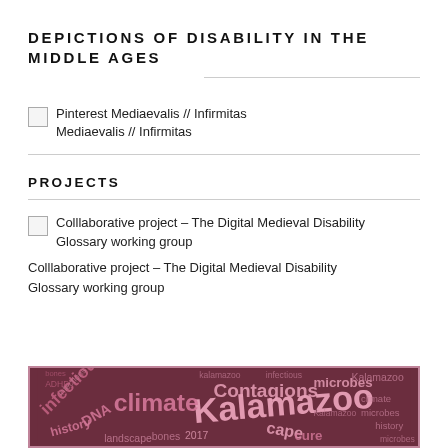DEPICTIONS OF DISABILITY IN THE MIDDLE AGES
[Figure (other): Broken image placeholder for Pinterest Mediaevalis // Infirmitas]
Pinterest Mediaevalis // Infirmitas
PROJECTS
[Figure (other): Broken image placeholder for Colllaborative project – The Digital Medieval Disability Glossary working group]
Colllaborative project – The Digital Medieval Disability Glossary working group
[Figure (other): Word cloud image with dark maroon/pink background containing words: Kalamazoo, climate, Contagions, infectious, DNA, microbes, history, landscape, bones, 2017, ADHD, infections, cape, cure, etc.]